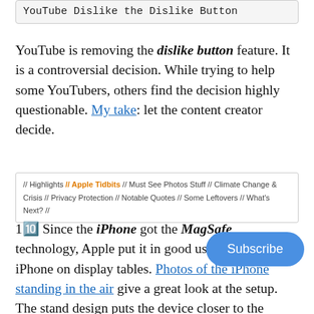YouTube Dislike the Dislike Button
YouTube is removing the dislike button feature. It is a controversial decision. While trying to help some YouTubers, others find the decision highly questionable. My take: let the content creator decide.
// Highlights // Apple Tidbits // Must See Photos Stuff // Climate Change & Crisis // Privacy Protection // Notable Quotes // Some Leftovers // What's Next? //
1🔟 Since the iPhone got the MagSafe technology, Apple put it in good use to display the iPhone on display tables. Photos of the iPhone standing in the air give a great look at the setup. The stand design puts the device closer to the potential customer's hands clutter. If Apple made those stands for a they could sell a boatload of them. Don't miss this